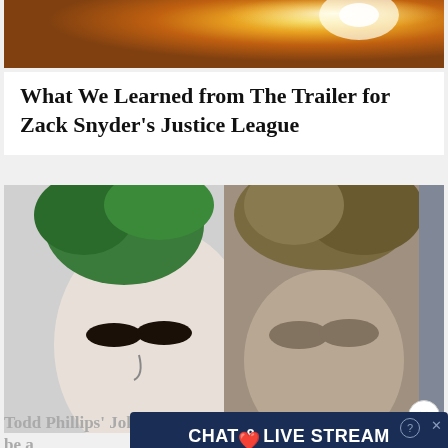[Figure (photo): Top portion of a fiery golden/orange image, possibly a superhero or action scene]
What We Learned from The Trailer for Zack Snyder's Justice League
[Figure (photo): Close-up split image of two Joker actors (one with green hair on left, one with curly hair on right), showing intense expressions with dark eye makeup]
Todd Phillips' Joker Origin Movie is Going to be a...
[Figure (photo): Advertisement overlay showing CHAT & LIVE STREAM text with Clover branding, and a beach photo with a woman]